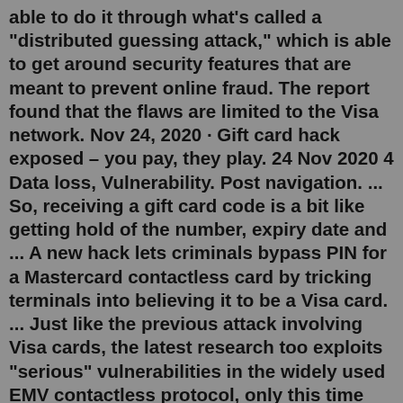able to do it through what's called a "distributed guessing attack," which is able to get around security features that are meant to prevent online fraud. The report found that the flaws are limited to the Visa network. Nov 24, 2020 · Gift card hack exposed – you pay, they play. 24 Nov 2020 4 Data loss, Vulnerability. Post navigation. ... So, receiving a gift card code is a bit like getting hold of the number, expiry date and ... A new hack lets criminals bypass PIN for a Mastercard contactless card by tricking terminals into believing it to be a Visa card. ... Just like the previous attack involving Visa cards, the latest research too exploits "serious" vulnerabilities in the widely used EMV contactless protocol, only this time the target is a Mastercard card. ...Unauthorized transactions from gift card - Google Play Community. Google Play Help. Sign in. Help Center. Community. Google Play. We noticed you haven't enrolled in our Play Points program yet. It can be joined at no cost, and you'll receive a welcome offer of 3x bonus points